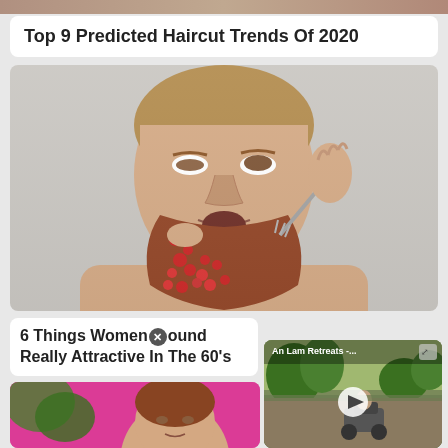[Figure (photo): Partial top image, cropped at top of page]
Top 9 Predicted Haircut Trends Of 2020
[Figure (photo): Man with red objects (berries/flowers) in his beard, eating from a fork, shirtless, against light grey background]
6 Things Women Found Really Attractive In The 60’s
[Figure (screenshot): Video thumbnail showing 'An Lam Retreats -...' with a play button overlay, outdoor scene with scooter and greenery]
[Figure (photo): Woman with pink background, face tilted up, flowers/plants around]
[Figure (photo): Outdoor scene, partial bottom right card, cut off at page bottom]